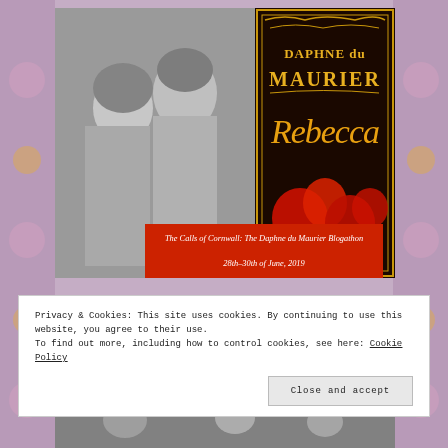[Figure (illustration): Composite image: left half shows a black and white romantic photo of a man and woman; right half shows the book cover of 'Rebecca' by Daphne du Maurier with gold ornate text on dark background and red flowers. A red overlay box reads: 'The Calls of Cornwall: The Daphne du Maurier Blogathon 28th–30th of June, 2019']
Privacy & Cookies: This site uses cookies. By continuing to use this website, you agree to their use.
To find out more, including how to control cookies, see here: Cookie Policy
[Figure (photo): Partial black and white photograph visible at bottom of page, cropped]